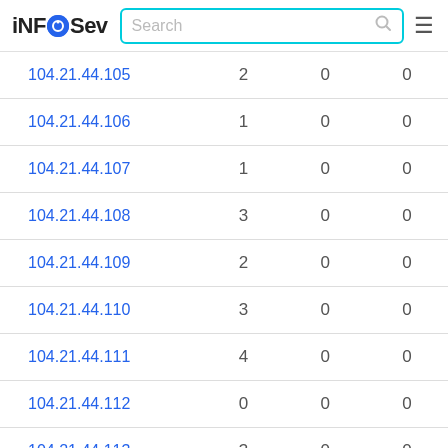iNFOSev | Search
| IP | col2 | col3 | col4 |
| --- | --- | --- | --- |
| 104.21.44.105 | 2 | 0 | 0 |
| 104.21.44.106 | 1 | 0 | 0 |
| 104.21.44.107 | 1 | 0 | 0 |
| 104.21.44.108 | 3 | 0 | 0 |
| 104.21.44.109 | 2 | 0 | 0 |
| 104.21.44.110 | 3 | 0 | 0 |
| 104.21.44.111 | 4 | 0 | 0 |
| 104.21.44.112 | 0 | 0 | 0 |
| 104.21.44.113 | 3 | 0 | 0 |
| 104.21.44.114 | 3 | 0 | 0 |